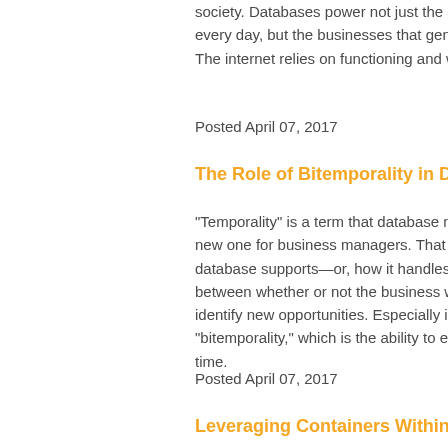society. Databases power not just the ap every day, but the businesses that gener The internet relies on functioning and wel
Posted April 07, 2017
The Role of Bitemporality in Data
"Temporality" is a term that database man new one for business managers. That has database supports—or, how it handles ti between whether or not the business wil identify new opportunities. Especially imp "bitemporality," which is the ability to exa time.
Posted April 07, 2017
Leveraging Containers Within the